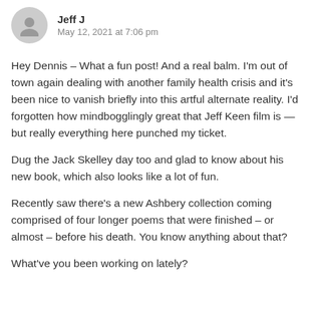Jeff J
May 12, 2021 at 7:06 pm
Hey Dennis – What a fun post! And a real balm. I'm out of town again dealing with another family health crisis and it's been nice to vanish briefly into this artful alternate reality. I'd forgotten how mindbogglingly great that Jeff Keen film is — but really everything here punched my ticket.
Dug the Jack Skelley day too and glad to know about his new book, which also looks like a lot of fun.
Recently saw there's a new Ashbery collection coming comprised of four longer poems that were finished – or almost – before his death. You know anything about that?
What've you been working on lately?